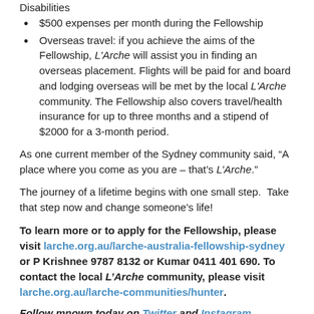Disabilities
$500 expenses per month during the Fellowship
Overseas travel: if you achieve the aims of the Fellowship, L'Arche will assist you in finding an overseas placement. Flights will be paid for and board and lodging overseas will be met by the local L'Arche community. The Fellowship also covers travel/health insurance for up to three months and a stipend of $2000 for a 3-month period.
As one current member of the Sydney community said, “A place where you come as you are – that’s L’Arche.”
The journey of a lifetime begins with one small step.  Take that step now and change someone’s life!
To learn more or to apply for the Fellowship, please visit larche.org.au/larche-australia-fellowship-sydney or P Krishnee 9787 8132 or Kumar 0411 401 690. To contact the local L’Arche community, please visit larche.org.au/larche-communities/hunter.
Follow mnown today on Twitter and Instagram